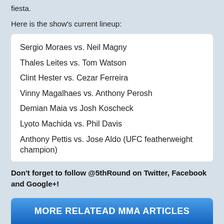fiesta.
Here is the show's current lineup:
Sergio Moraes vs. Neil Magny
Thales Leites vs. Tom Watson
Clint Hester vs. Cezar Ferreira
Vinny Magalhaes vs. Anthony Perosh
Demian Maia vs Josh Koscheck
Lyoto Machida vs. Phil Davis
Anthony Pettis vs. Jose Aldo (UFC featherweight champion)
Don't forget to follow @5thRound on Twitter, Facebook and Google+!
MORE RELATEAD MMA ARTICLES